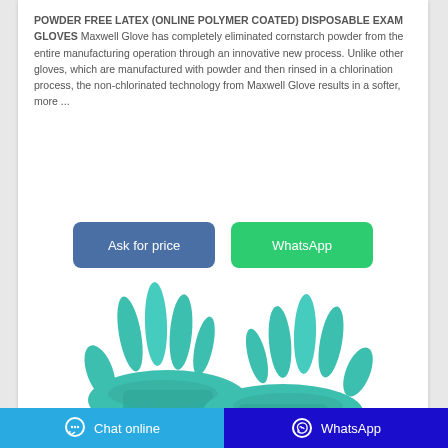POWDER FREE LATEX (ONLINE POLYMER COATED) DISPOSABLE EXAM GLOVES Maxwell Glove has completely eliminated cornstarch powder from the entire manufacturing operation through an innovative new process. Unlike other gloves, which are manufactured with powder and then rinsed in a chlorination process, the non-chlorinated technology from Maxwell Glove results in a softer, more ...
[Figure (illustration): Two teal/turquoise latex disposable exam gloves shown from above against a white background]
Chat online | WhatsApp